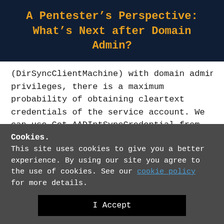A Pentester's Perspective: What's Next after Domain Admin?
(DirSyncClientMachine) with domain admin privileges, there is a maximum probability of obtaining cleartext credentials of the service account. We can use Get-AADIntSyncCredential from AADInternals to dump the cleartext passwords of both the service accounts.
Cookies.
This site uses cookies to give you a better experience. By using our site you agree to the use of cookies. See our cookie policy for more details.
I Accept